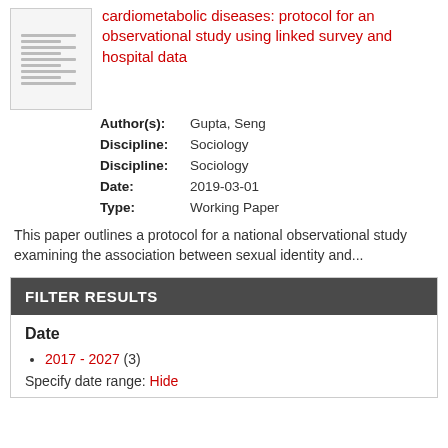cardiometabolic diseases: protocol for an observational study using linked survey and hospital data
Author(s): Gupta, Seng
Discipline: Sociology
Discipline: Sociology
Date: 2019-03-01
Type: Working Paper
This paper outlines a protocol for a national observational study examining the association between sexual identity and...
FILTER RESULTS
Date
2017 - 2027 (3)
Specify date range: Hide